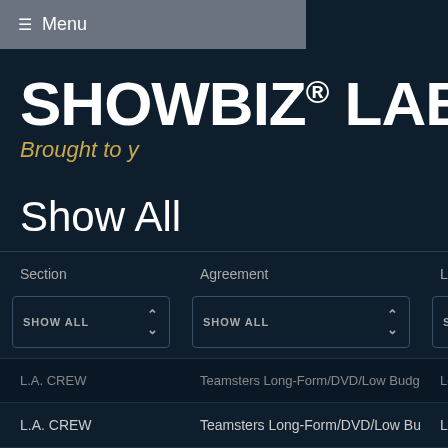≡ Menu
SHOWBIZ® LABO
Brought to y
Show All
| Section | Agreement | Local ▼ |
| --- | --- | --- |
| SHOW ALL | SHOW ALL | SHOW ALL |
| L.A. CREW | Teamsters Long-Form/DVD/Low Budget | Local 399 - Drivers |
| L.A. CREW | Teamsters Long-Form/DVD/Low Budget | Local 399 - Drivers |
| L.A. CREW | Teamsters Long-Form/DVD/Low Budget | Local 399 - Drivers |